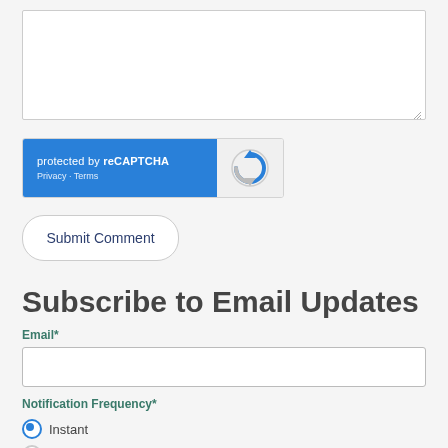[Figure (screenshot): Empty textarea input box with resize handle at bottom-right corner]
[Figure (screenshot): reCAPTCHA widget showing 'protected by reCAPTCHA' text in blue on left, reCAPTCHA circular arrow logo on gray right side, with Privacy and Terms links]
Submit Comment
Subscribe to Email Updates
Email*
[Figure (screenshot): Empty email text input field]
Notification Frequency*
Instant
Daily